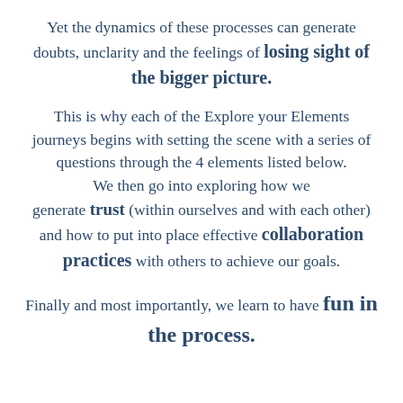Yet the dynamics of these processes can generate doubts, unclarity and the feelings of losing sight of the bigger picture.
This is why each of the Explore your Elements journeys begins with setting the scene with a series of questions through the 4 elements listed below. We then go into exploring how we generate trust (within ourselves and with each other) and how to put into place effective collaboration practices with others to achieve our goals.
Finally and most importantly, we learn to have fun in the process.